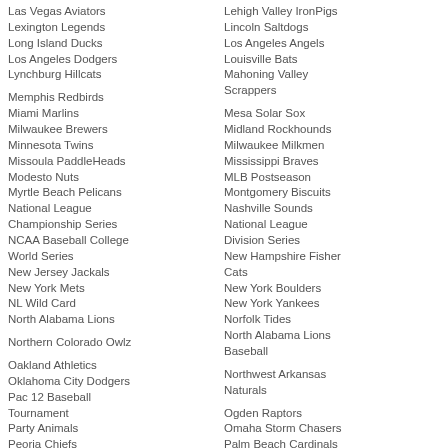Las Vegas Aviators
Lehigh Valley IronPigs
Lexington Legends
Lincoln Saltdogs
Long Island Ducks
Los Angeles Angels
Los Angeles Dodgers
Louisville Bats
Lynchburg Hillcats
Mahoning Valley Scrappers
Memphis Redbirds
Mesa Solar Sox
Miami Marlins
Midland Rockhounds
Milwaukee Brewers
Milwaukee Milkmen
Minnesota Twins
Mississippi Braves
Missoula PaddleHeads
MLB Postseason
Modesto Nuts
Montgomery Biscuits
Myrtle Beach Pelicans
Nashville Sounds
National League Championship Series
National League Division Series
NCAA Baseball College World Series
New Hampshire Fisher Cats
New Jersey Jackals
New York Boulders
New York Mets
New York Yankees
NL Wild Card
Norfolk Tides
North Alabama Lions
North Alabama Lions Baseball
Northern Colorado Owlz
Northwest Arkansas Naturals
Oakland Athletics
Ogden Raptors
Oklahoma City Dodgers
Omaha Storm Chasers
Pac 12 Baseball Tournament
Palm Beach Cardinals
Party Animals
Pensacola Blue Wahoos
Peoria Chiefs
Peoria Javelinas
Philadelphia Phillies
Pittsburgh Pirates
Portland Sea Dogs
Quad Cities River